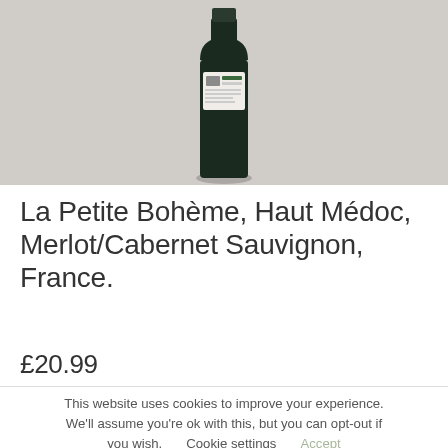[Figure (photo): Dark green wine bottle photographed against a light grey background, showing the back label with certification marks, bottle is centered in the image]
La Petite Bohème, Haut Médoc, Merlot/Cabernet Sauvignon, France.
£20.99
This website uses cookies to improve your experience. We'll assume you're ok with this, but you can opt-out if you wish. Cookie settings Accept